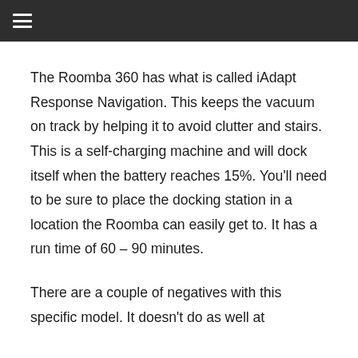The Roomba 360 has what is called iAdapt Response Navigation. This keeps the vacuum on track by helping it to avoid clutter and stairs. This is a self-charging machine and will dock itself when the battery reaches 15%. You’ll need to be sure to place the docking station in a location the Roomba can easily get to. It has a run time of 60 – 90 minutes.
There are a couple of negatives with this specific model. It doesn’t do as well at